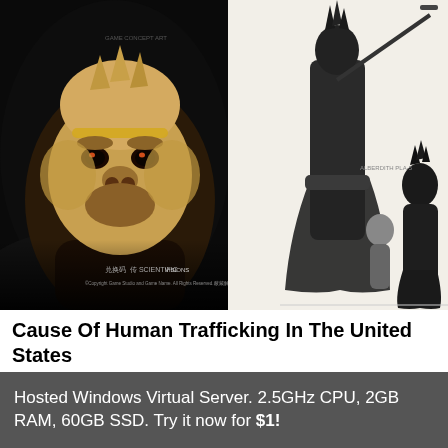[Figure (illustration): Game concept art showing a monkey warrior face portrait on the left (close-up of a fierce monkey-human hybrid with golden-brown fur and a crown/headband, against a dark background with Chinese/Asian logo text and watermark at bottom). On the right are two full-body character designs on a light background: a tall dark-robed figure holding a staff/weapon overhead, and a smaller armored character for scale comparison. Small logos and Chinese text appear at the bottom of the left image.]
Cause Of Human Trafficking In The United States
Hosted Windows Virtual Server. 2.5GHz CPU, 2GB RAM, 60GB SSD. Try it now for $1!